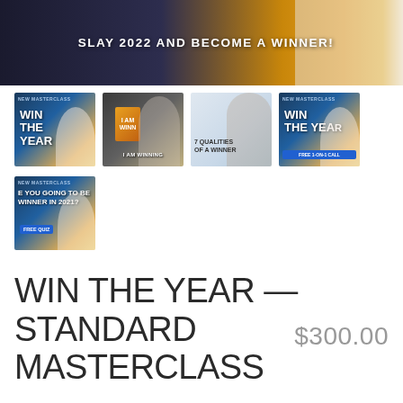[Figure (photo): Banner image with dark-to-golden gradient background and a person in white on the right, with bold white text reading SLAY 2022 AND BECOME A WINNER!]
[Figure (photo): Four thumbnail images in a row: WIN THE YEAR masterclass promo, I AM WINNING book cover, 7 QUALITIES OF A WINNER promo with woman, WIN THE YEAR masterclass promo with FREE 1-ON-1 CALL badge]
[Figure (photo): One thumbnail image: ARE YOU GOING TO BE A WINNER IN 2021? with FREE QUIZ badge]
WIN THE YEAR — STANDARD MASTERCLASS
$300.00